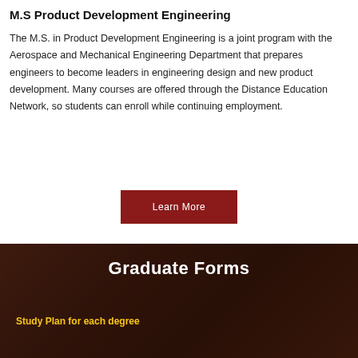M.S Product Development Engineering
The M.S. in Product Development Engineering is a joint program with the Aerospace and Mechanical Engineering Department that prepares engineers to become leaders in engineering design and new product development. Many courses are offered through the Distance Education Network, so students can enroll while continuing employment.
Learn More
Graduate Forms
Study Plan for each degree